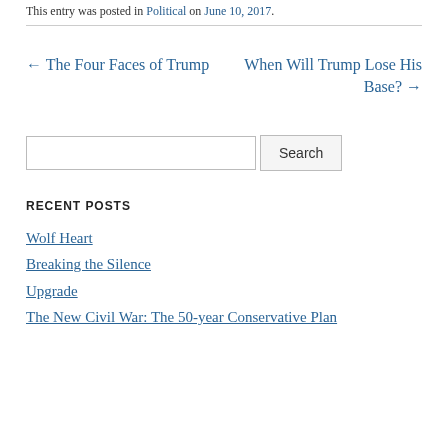This entry was posted in Political on June 10, 2017.
← The Four Faces of Trump    When Will Trump Lose His Base? →
Search
RECENT POSTS
Wolf Heart
Breaking the Silence
Upgrade
The New Civil War: The 50-year Conservative Plan